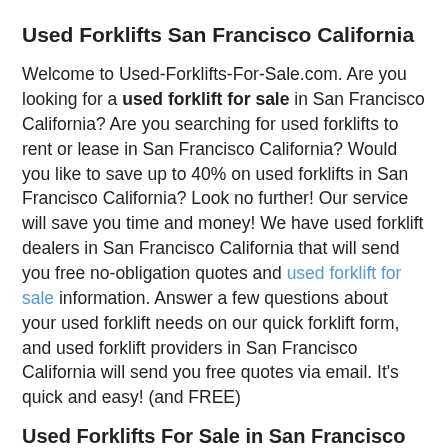Used Forklifts San Francisco California
Welcome to Used-Forklifts-For-Sale.com. Are you looking for a used forklift for sale in San Francisco California? Are you searching for used forklifts to rent or lease in San Francisco California? Would you like to save up to 40% on used forklifts in San Francisco California? Look no further! Our service will save you time and money! We have used forklift dealers in San Francisco California that will send you free no-obligation quotes and used forklift for sale information. Answer a few questions about your used forklift needs on our quick forklift form, and used forklift providers in San Francisco California will send you free quotes via email. It’s quick and easy! (and FREE)
Used Forklifts For Sale in San Francisco California
Used CAT Forklifts For Sale in San Francisco